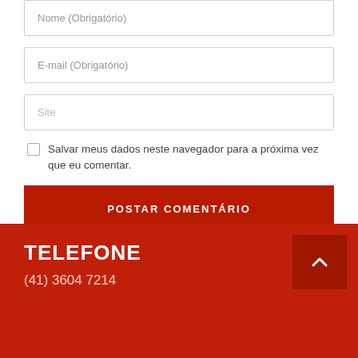Nome (Obrigatório)
E-mail (Obrigatório)
Site
Salvar meus dados neste navegador para a próxima vez que eu comentar.
POSTAR COMENTÁRIO
TELEFONE
(41) 3604 7214